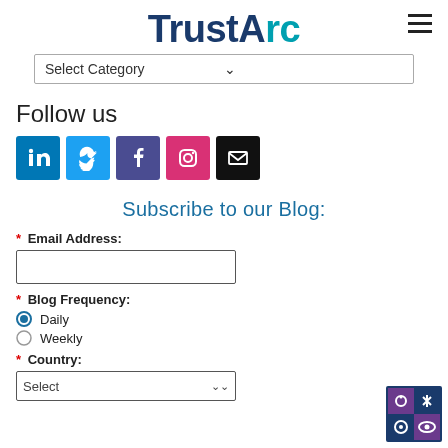[Figure (logo): TrustArc logo with 'Trust' in dark navy and 'Arc' in teal, with hamburger menu icon on the right]
Select Category
Follow us
[Figure (infographic): Five social media icons: LinkedIn (blue), Twitter (light blue), Facebook (dark blue/purple), Instagram (pink/red), Email (black)]
Subscribe to our Blog:
* Email Address:
* Blog Frequency: Daily (selected), Weekly
* Country: Select